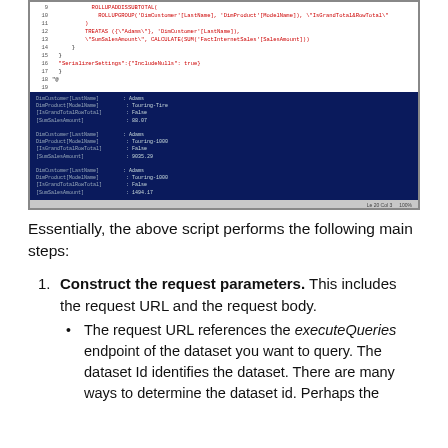[Figure (screenshot): Screenshot of a PowerShell IDE/editor showing code with red and black syntax highlighting in the upper portion, and a dark navy blue terminal output window in the lower portion displaying query results with fields like DimCustomer LastName, DimProduct ModelName, IsGrandTotalRowTotal, SumSalesAmount for multiple Adams entries with Touring and Road bike products.]
Essentially, the above script performs the following main steps:
1. Construct the request parameters. This includes the request URL and the request body.
The request URL references the executeQueries endpoint of the dataset you want to query. The dataset Id identifies the dataset. There are many ways to determine the dataset id. Perhaps the